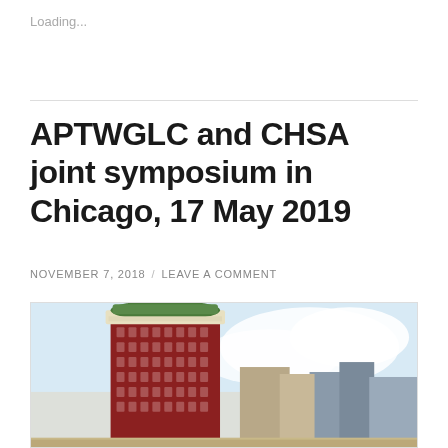Loading...
APTWGLC and CHSA joint symposium in Chicago, 17 May 2019
NOVEMBER 7, 2018 / LEAVE A COMMENT
[Figure (photo): Vintage postcard illustration of Chicago city skyline featuring a tall ornate brick skyscraper with decorative green rooftop in the foreground, surrounded by other downtown buildings, with a blue sky and clouds in the background.]